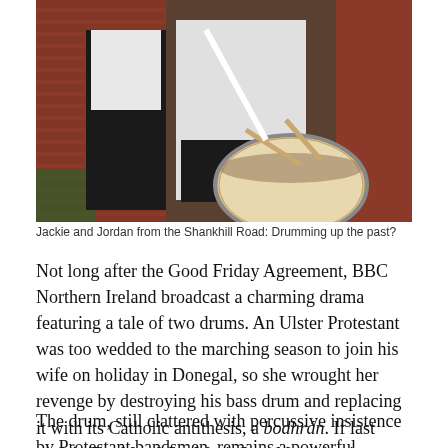[Figure (photo): Two men standing in front of a brick wall. One man in the foreground is wearing a white shirt and holding drumsticks over a bass drum with a white head. The man in the background is wearing a white shirt and black trousers.]
Jackie and Jordan from the Shankhill Road: Drumming up the past?
Not long after the Good Friday Agreement, BBC Northern Ireland broadcast a charming drama featuring a tale of two drums. An Ulster Protestant was too wedded to the marching season to join his wife on holiday in Donegal, so she wrought her revenge by destroying his bass drum and replacing it with its Catholic antithesis, a bodhrán. If last night's The Men Who Won't Stop Marching is any indication, that won't be happening on the Shankill Road any time soon.
The drum, still clattered with percussive insistence by Protestant bandsmen, remains a powerful conduit for